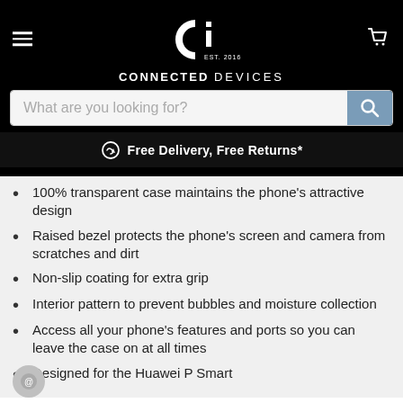CONNECTED DEVICES EST. 2016
What are you looking for?
Free Delivery, Free Returns*
100% transparent case maintains the phone's attractive design
Raised bezel protects the phone's screen and camera from scratches and dirt
Non-slip coating for extra grip
Interior pattern to prevent bubbles and moisture collection
Access all your phone's features and ports so you can leave the case on at all times
Designed for the Huawei P Smart